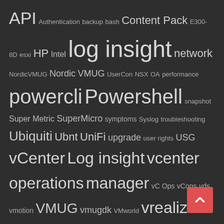[Figure (infographic): Tag cloud on dark background with various IT/VMware related terms in different font sizes. Terms include: API, Authentication, backup, bash, Content Pack, E300-8D, esxi, HP, Intel, log insight, network, NordicVMUG, Nordic VMUG, UserCon, NSX, OA, performance, powercli, Powershell, snapshot, Super Metric, SuperMicro, symptoms, Syslog, troubleshooting, Ubiquiti, Ubnt, UniFi, upgrade, user rights, USG, vCenter, Log insight, vcenter operations, manager, vC Ops, vCops, vds, vmotion, VMUG, vmugdk, VMworld, vrealize log insight, vRealize, Operations Manager, vRops, vSAN, vSphere, Wireless]